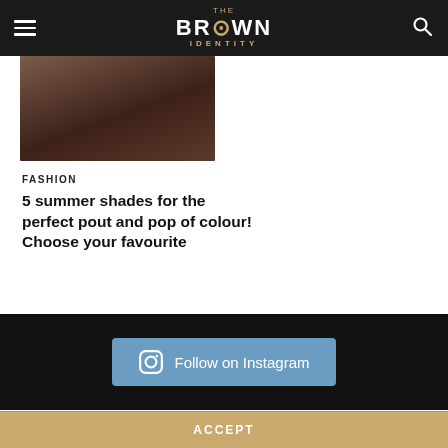The Brown Identity
[Figure (photo): Blurred brownish-red photo, likely fashion/lipstick related]
FASHION
5 summer shades for the perfect pout and pop of colour! Choose your favourite
[Figure (other): Follow on Instagram button in dark section]
Our site uses cookies. Learn more about our use of cookies: cookie policy
ACCEPT